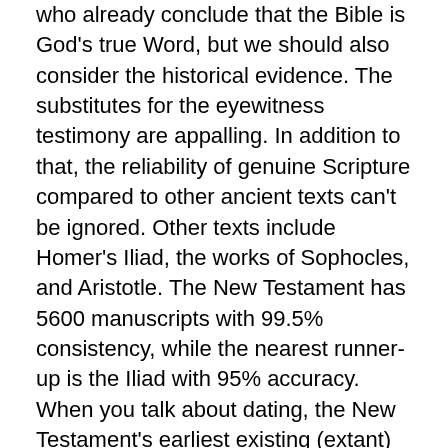who already conclude that the Bible is God's true Word, but we should also consider the historical evidence.  The substitutes for the eyewitness testimony are appalling.  In addition to that, the reliability of genuine Scripture compared to other ancient texts can't be ignored.  Other texts include Homer's Iliad, the works of Sophocles, and Aristotle.  The New Testament has 5600 manuscripts with 99.5% consistency, while the nearest runner-up is the Iliad with 95% accuracy.  When you talk about dating, the New Testament's earliest existing (extant) manuscripts date from AD 130, while the oldest Iliad date from 500 years after the original.  If there are errors to be found, they should be found, but in such a wealth of manuscripts, what scholars—even critical ones—have found, is that the New Testament is reliable and consistent.
What does that mean for us?  It's an incredible comfort in an age of changing truth and the flimsy truth of man.  God